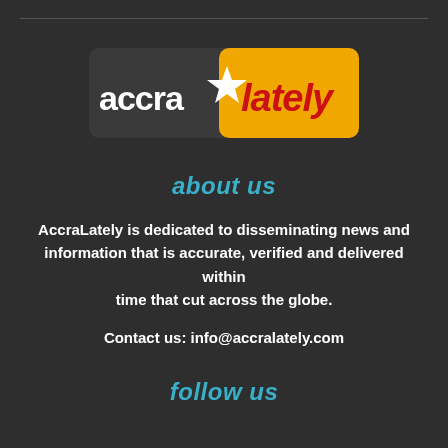[Figure (logo): AccraLately logo with dark grey left portion showing 'accra' in white bold text with a star, and yellow/orange right portion showing 'lately' in red bold text]
about us
AccraLately is dedicated to disseminating news and information that is accurate, verified and delivered within time that cut across the globe.
Contact us: info@accralately.com
follow us